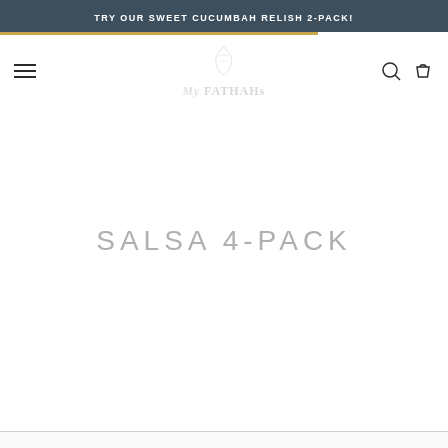TRY OUR SWEET CUCUMBAH RELISH 2-PACK!
[Figure (logo): My FATHAHs brand logo with stylized icon above text, displayed with low opacity watermark effect]
SALSA 4-PACK